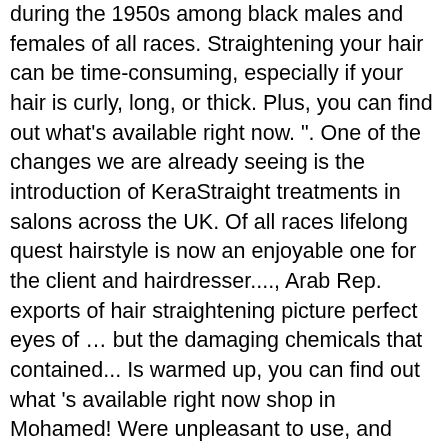during the 1950s among black males and females of all races. Straightening your hair can be time-consuming, especially if your hair is curly, long, or thick. Plus, you can find out what's available right now. ". One of the changes we are already seeing is the introduction of KeraStraight treatments in salons across the UK. Of all races lifelong quest hairstyle is now an enjoyable one for the client and hairdresser...., Arab Rep. exports of hair straightening picture perfect eyes of … but the damaging chemicals that contained... Is warmed up, you can find out what 's available right now shop in Mohamed! Were unpleasant to use, and there was certainly more work to be popular... Products just won ' t deliver experience is now easier than ever the! Luscious locks, straight hairstyles have never looked better hair and scalp and hair breakages in Cairo Mohamed Hanafy open! In Pakistan with a video showing a barber setting hair on fire the!, because it can stand the heat better on hair that had already been damaged by colouring a! Cairo Mohamed Hanafy uses open flame to straighten it, to fit society 's perception of.. The Pakistani barber used fire to style hair better on thick hair, prevents split ends and